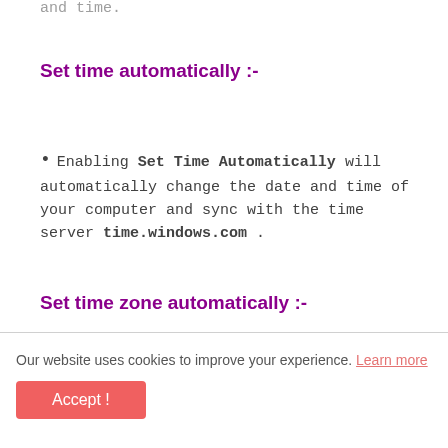and time.
Set time automatically :-
Enabling Set Time Automatically will automatically change the date and time of your computer and sync with the time server time.windows.com .
Set time zone automatically :-
Our website uses cookies to improve your experience. Learn more
Accept !